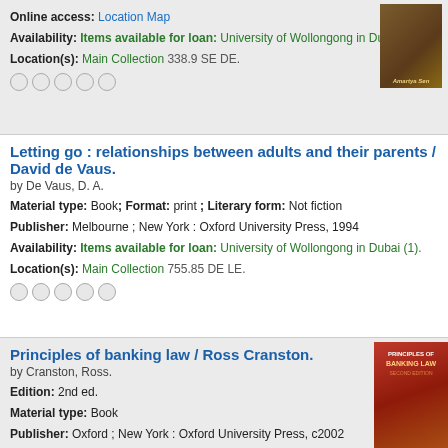Online access: Location Map
Availability: Items available for loan: University of Wollongong in Dubai (1).
Location(s): Main Collection 338.9 SE DE.
[Figure (illustration): Book cover showing brown/gold tones with author name Amartya Sen]
Letting go : relationships between adults and their parents / David de Vaus.
by De Vaus, D. A.
Material type: Book; Format: print ; Literary form: Not fiction
Publisher: Melbourne ; New York : Oxford University Press, 1994
Availability: Items available for loan: University of Wollongong in Dubai (1).
Location(s): Main Collection 755.85 DE LE.
Principles of banking law / Ross Cranston.
by Cranston, Ross.
[Figure (illustration): Book cover for Principles of Banking Law by Ross Cranston, red cover]
Edition: 2nd ed.
Material type: Book
Publisher: Oxford ; New York : Oxford University Press, c2002
Online access: Location Map
Availability: Items available for loan: University of Wollongong in Dubai (1).